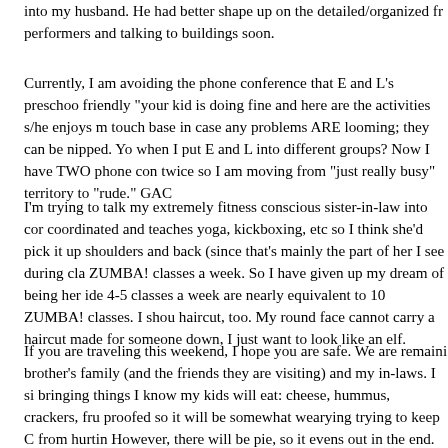into my husband.  He had better shape up on the detailed/organized fr performers and talking to buildings soon.
Currently, I am avoiding the phone conference that E and L's preschoo friendly "your kid is doing fine and here are the activities s/he enjoys m touch base in case any problems ARE looming; they can be nipped.  Yo when I put E and L into different groups?  Now I have TWO phone con twice so I am moving from "just really busy" territory to "rude."  GAC
I'm trying to talk my extremely fitness conscious sister-in-law into cor coordinated and teaches yoga, kickboxing, etc so I think she'd pick it up shoulders and back (since that's mainly the part of her I see during cla ZUMBA! classes a week.  So I have given up my dream of being her ide 4-5 classes a week are nearly equivalent to 10 ZUMBA! classes.  I shou haircut, too.  My round face cannot carry a haircut made for someone down, I just want to look like an elf.
If you are traveling this weekend, I hope you are safe.  We are remaini brother's family (and the friends they are visiting) and my in-laws.  I si bringing things I know my kids will eat: cheese, hummus, crackers, fru proofed so it will be somewhat wearying trying to keep C from hurtin However, there will be pie, so it evens out in the end.